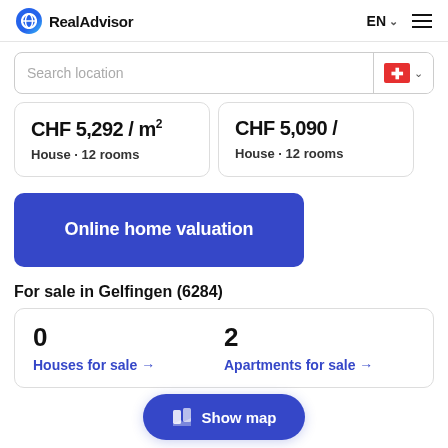RealAdvisor  EN  ☰
Search location
CHF 5,292 / m²
House · 12 rooms
CHF 5,090 / m²
House · 12 rooms
Online home valuation
For sale in Gelfingen (6284)
| Houses for sale | Apartments for sale |
| --- | --- |
| 0 | 2 |
Show map